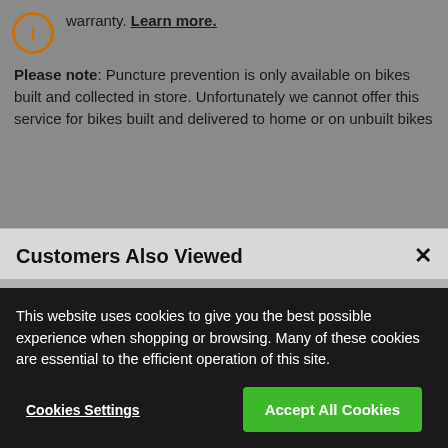warranty. Learn more.
Please note: Puncture prevention is only available on bikes built and collected in store. Unfortunately we cannot offer this service for bikes built and delivered to home or on unbuilt bikes
Customers Also Viewed
[Figure (photo): Two bicycle product images shown in a 'Customers Also Viewed' modal panel, partially cropped]
This website uses cookies to give you the best possible experience when shopping or browsing. Many of these cookies are essential to the efficient operation of this site.
Cookies Settings
Accept All Cookies